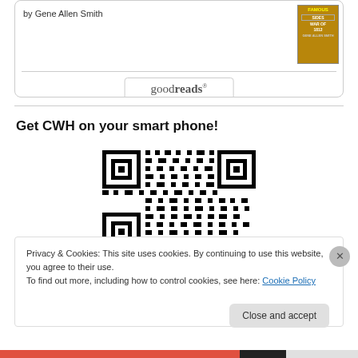by Gene Allen Smith
[Figure (other): Goodreads button/logo with rounded rectangle border]
[Figure (other): Book cover thumbnail - dark background with title about Sides War of 1812 by Gene Allen Smith]
Get CWH on your smart phone!
[Figure (other): QR code for CWH mobile site]
Privacy & Cookies: This site uses cookies. By continuing to use this website, you agree to their use.
To find out more, including how to control cookies, see here: Cookie Policy